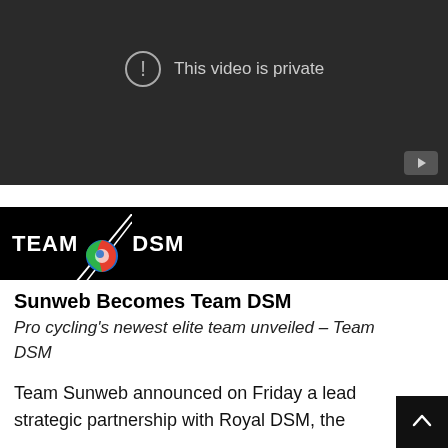[Figure (screenshot): A dark video player showing 'This video is private' message with a circle-exclamation icon and a YouTube logo button in the bottom right corner.]
[Figure (logo): Team DSM logo banner on black background with TEAM text, diagonal white lines, colorful circular DSM logo, and DSM text.]
Sunweb Becomes Team DSM
Pro cycling's newest elite team unveiled – Team DSM
Team Sunweb announced on Friday a lead strategic partnership with Royal DSM, the